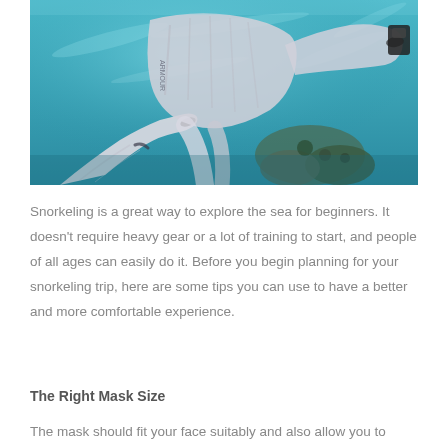[Figure (photo): Underwater photo of a person in a long-sleeve athletic shirt swimming or snorkeling above a coral reef in clear blue-turquoise water, taken from a first-person perspective looking up and outward.]
Snorkeling is a great way to explore the sea for beginners. It doesn't require heavy gear or a lot of training to start, and people of all ages can easily do it. Before you begin planning for your snorkeling trip, here are some tips you can use to have a better and more comfortable experience.
The Right Mask Size
The mask should fit your face suitably and also allow you to